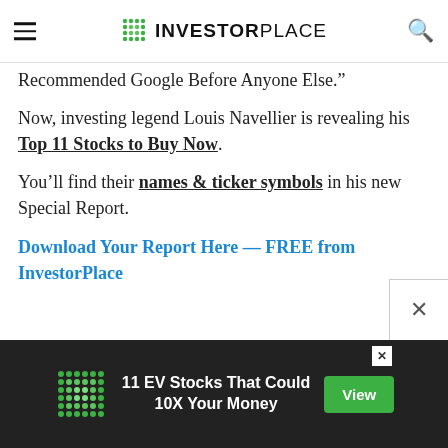INVESTORPLACE
Recommended Google Before Anyone Else."
Now, investing legend Louis Navellier is revealing his Top 11 Stocks to Buy Now.
You'll find their names & ticker symbols in his new Special Report.
Download Your Report Here — FREE from InvestorPlace
[Figure (other): Advertisement banner: 11 EV Stocks That Could 10X Your Money with View button]